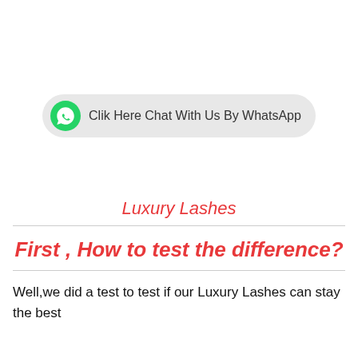[Figure (other): WhatsApp chat button with green WhatsApp logo icon and text 'Clik Here Chat With Us By WhatsApp' on a light grey pill-shaped background]
Luxury Lashes
First , How to test the difference?
Well,we did a test to test if our Luxury Lashes can stay the best